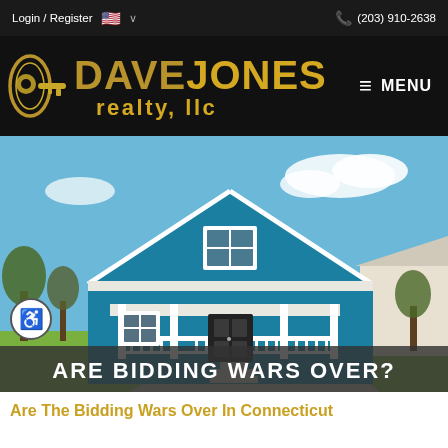Login / Register   🇺🇸 ∨          (203) 910-2638
[Figure (logo): Dave Jones Realty LLC logo with gold key icon, black background, gold and dark gold text reading DAVE JONES realty, llc, and MENU hamburger icon]
[Figure (photo): Photo of a blue craftsman bungalow house with white trim and porch on a sunny day, with overlay text ARE BIDDING WARS OVER?]
Are The Bidding Wars Over In Connecticut